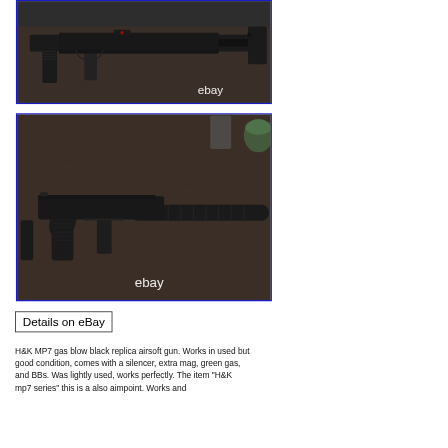[Figure (photo): Photo of a black H&K MP7 airsoft gun laid flat on a dark surface, with 'ebay' watermark in lower right]
[Figure (photo): Photo of a black H&K MP7 airsoft gun with silencer attachment on a dark surface, with 'ebay' watermark in lower right]
Details on eBay
H&K MP7 gas blow black replica airsoft gun. Works in used but good condition, comes with a silencer, extra mag, green gas, and BBs. Was lightly used, works perfectly. The item "H&K mp7 series" this is a also aimpoint. Works and...